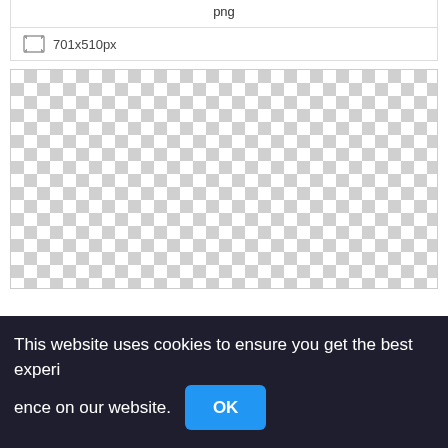png
701x510px
[Figure (other): Transparent/empty image preview area shown as a checkerboard pattern (white and light gray squares), indicating a transparent PNG placeholder.]
This website uses cookies to ensure you get the best experience on our website.